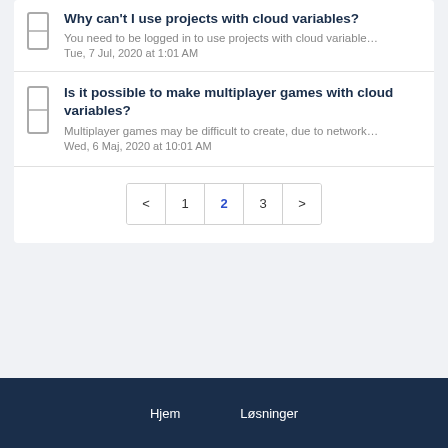Why can't I use projects with cloud variables?
You need to be logged in to use projects with cloud variable…
Tue, 7 Jul, 2020 at 1:01 AM
Is it possible to make multiplayer games with cloud variables?
Multiplayer games may be difficult to create, due to network…
Wed, 6 Maj, 2020 at 10:01 AM
< 1 2 3 >
Hjem    Løsninger